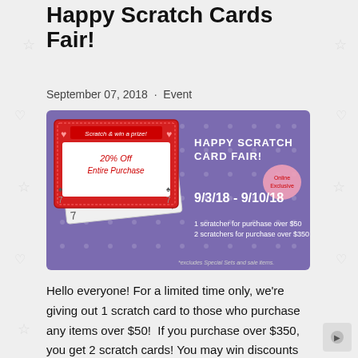Happy Scratch Cards Fair!
September 07, 2018 · Event
[Figure (illustration): Promotional banner for Happy Scratch Card Fair, 9/3/18 - 9/10/18, showing scratch cards with prizes: 20% Off Entire Purchase, FREE Novelty Item. Purple background with decorative hearts. 1 scratcher for purchase over $50, 2 scratchers for purchase over $350. *excludes Special Sets and sale items.]
Hello everyone! For a limited time only, we're giving out 1 scratch card to those who purchase any items over $50!  If you purchase over $350, you get 2 scratch cards! You may win discounts like free novelty item such as  20% off entire purchase! This offer starts from